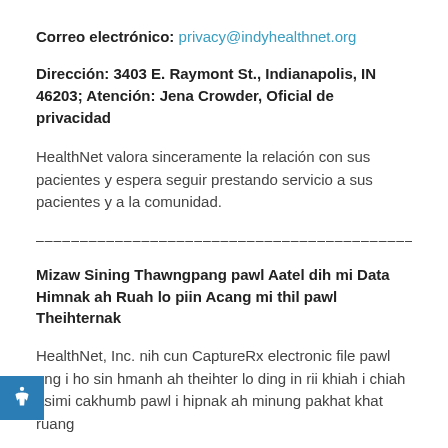Correo electrónico: privacy@indyhealthnet.org
Dirección: 3403 E. Raymont St., Indianapolis, IN 46203; Atención: Jena Crowder, Oficial de privacidad
HealthNet valora sinceramente la relación con sus pacientes y espera seguir prestando servicio a sus pacientes y a la comunidad.
--------------------------------------------------------------------------
Mizaw Sining Thawngpang pawl Aatel dih mi Data Himnak ah Ruah lo piin Acang mi thil pawl Theihternak
HealthNet, Inc. nih cun CaptureRx electronic file pawl lung i ho sin hmanh ah theihter lo ding in rii khiah i chiah asimi cakhumb pawl i hipnak ah minung pakhat khat ruang